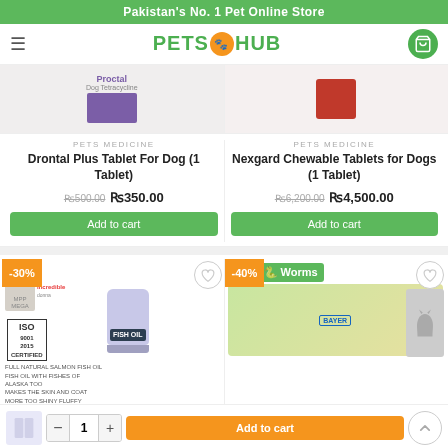Pakistan's No. 1 Pet Online Store
[Figure (screenshot): PetsHub website header with hamburger menu, logo, and cart icon]
PETS MEDICINE
Drontal Plus Tablet For Dog (1 Tablet)
Rs500.00 Rs350.00
Add to cart
PETS MEDICINE
Nexgard Chewable Tablets for Dogs (1 Tablet)
Rs6,200.00 Rs4,500.00
Add to cart
[Figure (photo): Fish Oil supplement product bottle with ISO 9001:2015 Certified badge and -30% discount badge]
[Figure (photo): Worms treatment product with -40% discount badge and Bayer logo]